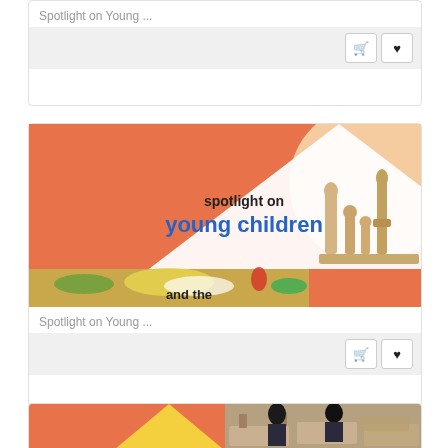Spotlight on Young ...
[Figure (screenshot): Book/product listing card with shopping cart and heart/wishlist buttons on gray action bar]
Spotlight on Young ...
[Figure (illustration): Book cover image: orange background with white triangle, text 'spotlight on young children and the...' with wooden toy figures on the right side and colorful children's artwork on the bottom]
Spotlight on Young ...
[Figure (screenshot): Product card action bar with shopping cart and heart/wishlist buttons]
[Figure (photo): Partial image showing orange background with yellow triangle and a classroom photo of children at desks]